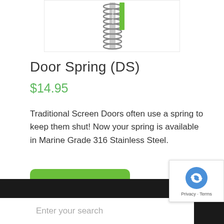[Figure (photo): Product photo of a Door Spring (DS) — a coiled stainless steel spring shown vertically against a white background with green packaging label visible at the top right.]
Door Spring (DS)
$14.95
Traditional Screen Doors often use a spring to keep them shut! Now your spring is available in Marine Grade 316 Stainless Steel.
Add to cart
Enter your search